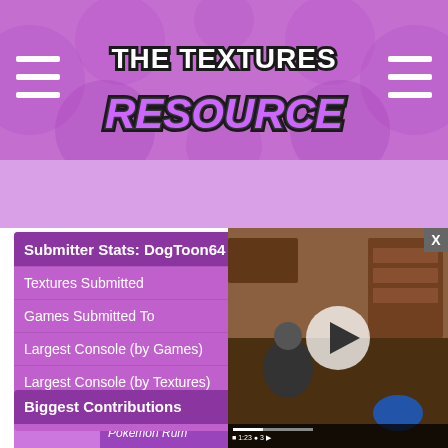[Figure (screenshot): The Textures Resource website header with purple polka dot background, hamburger menus on left and right, and stylized logo in center]
| Stat | Value |
| --- | --- |
| Submitter Stats: DogToon64 |  |
| Textures Submitted | 840 |
| Games Submitted To | 60 |
| Largest Console (by Games) | Nintendo Switch (16 games) |
| Largest Console (by Textures) | Nintendo Switch (224 textures) |
| View By | Console | Genre |
Biggest Contributions
[Figure (screenshot): Video overlay showing a room with shelves, with a play button in the center, and a close X button in the top right corner. Bottom shows video bar with game stats.]
[Figure (screenshot): Pokemon Rumble thumbnail showing a round purple Pokemon character on a green background]